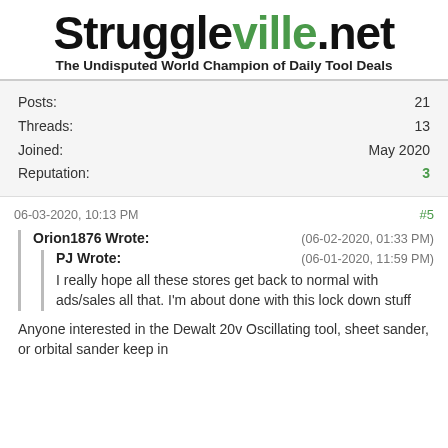Struggleville.net
The Undisputed World Champion of Daily Tool Deals
Posts: 21
Threads: 13
Joined: May 2020
Reputation: 3
06-03-2020, 10:13 PM  #5
Orion1876 Wrote:  (06-02-2020, 01:33 PM)
  PJ Wrote:  (06-01-2020, 11:59 PM)
  I really hope all these stores get back to normal with ads/sales all that. I'm about done with this lock down stuff
Anyone interested in the Dewalt 20v Oscillating tool, sheet sander, or orbital sander keep in